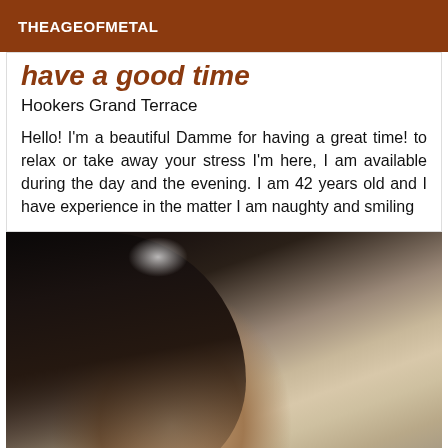THEAGEOFMETAL
have a good time
Hookers Grand Terrace
Hello! I'm a beautiful Damme for having a great time! to relax or take away your stress I'm here, I am available during the day and the evening. I am 42 years old and I have experience in the matter I am naughty and smiling
[Figure (photo): Close-up photo of a woman with long dark hair, smiling, with tiled wall in background]